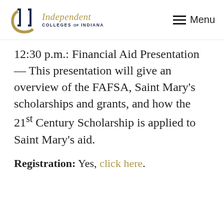Independent Colleges of Indiana — Menu
12:30 p.m.: Financial Aid Presentation — This presentation will give an overview of the FAFSA, Saint Mary's scholarships and grants, and how the 21st Century Scholarship is applied to Saint Mary's aid.
Registration: Yes, click here.